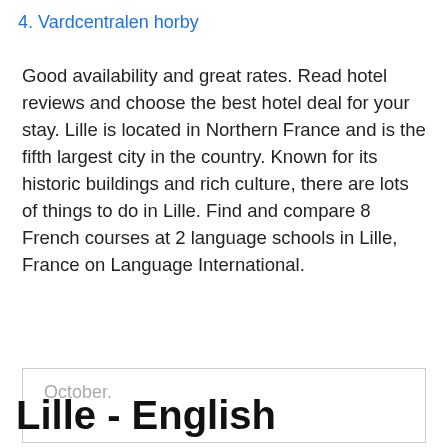4. Vardcentralen horby
Good availability and great rates. Read hotel reviews and choose the best hotel deal for your stay. Lille is located in Northern France and is the fifth largest city in the country. Known for its historic buildings and rich culture, there are lots of things to do in Lille. Find and compare 8 French courses at 2 language schools in Lille, France on Language International.
October.
Lille - English